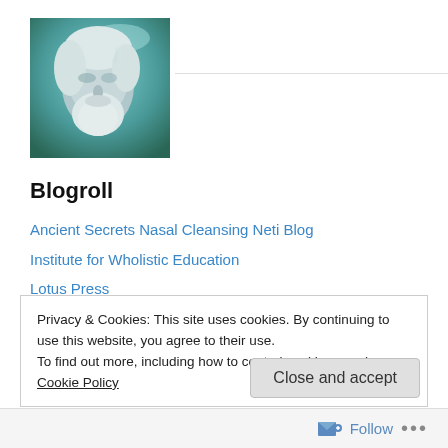[Figure (photo): Portrait painting of an elderly man with white beard and white hair against a teal/green misty background]
Blogroll
Ancient Secrets Nasal Cleansing Neti Blog
Institute for Wholistic Education
Lotus Press
M P Pandit Information
Santosh's Daily Twitter Feed on Sri Aurobindo and Ayurvedic Studies
Privacy & Cookies: This site uses cookies. By continuing to use this website, you agree to their use.
To find out more, including how to control cookies, see here: Cookie Policy
Follow